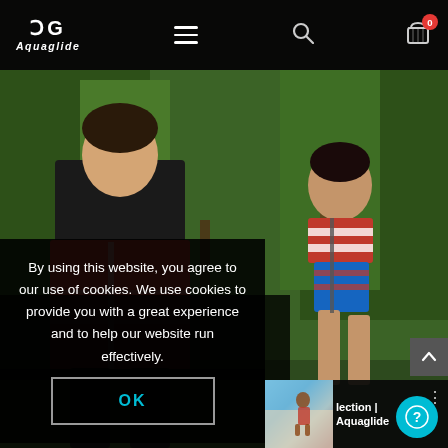Aquaglide navigation bar with logo, hamburger menu, search, and cart (0 items)
[Figure (photo): Hero outdoor photo: two children jumping/playing on a water trampoline near pine trees; left child wearing red life jacket and black shirt, right child in red/white/blue swimsuit. Background shows green pine trees.]
By using this website, you agree to our use of cookies. We use cookies to provide you with a great experience and to help our website run effectively.
[Figure (screenshot): Cookie consent OK button — white outlined button with cyan OK text]
lection | Aquaglide
[Figure (photo): Video thumbnail showing a person doing a water sport jump against blue sky background]